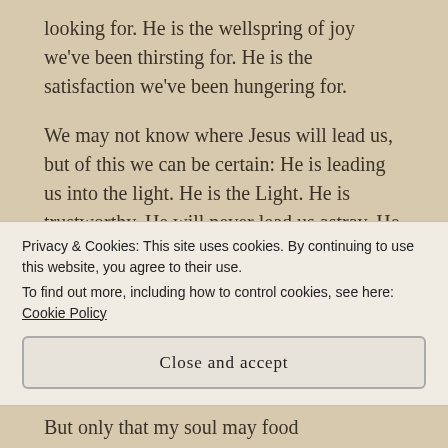looking for. He is the wellspring of joy we've been thirsting for. He is the satisfaction we've been hungering for.
We may not know where Jesus will lead us, but of this we can be certain: He is leading us into the light. He is the Light. He is trustworthy. He will never lead us astray. He will never abandon us. He will never forsake us.
His Love Can Never Fail is an old hymn written by E.S. Hall. The hymn describes the trustworthiness of
Privacy & Cookies: This site uses cookies. By continuing to use this website, you agree to their use.
To find out more, including how to control cookies, see here: Cookie Policy
Close and accept
But only that my soul may feed